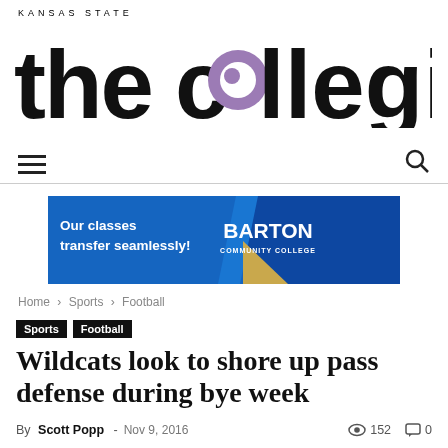[Figure (logo): Kansas State The Collegian newspaper logo with 'KANSAS STATE' above 'thecollegian' in large serif-style bold letters with a purple circle as the letter 'o']
[Figure (infographic): Advertisement banner for Barton Community College: blue background, text 'Our classes transfer seamlessly!' on the left, 'BARTON COMMUNITY COLLEGE' on the right with a gold triangle accent]
Home › Sports › Football
Sports  Football
Wildcats look to shore up pass defense during bye week
By Scott Popp - Nov 9, 2016   152   0